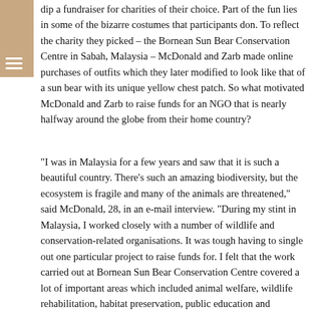dip a fundraiser for charities of their choice. Part of the fun lies in some of the bizarre costumes that participants don. To reflect the charity they picked – the Bornean Sun Bear Conservation Centre in Sabah, Malaysia – McDonald and Zarb made online purchases of outfits which they later modified to look like that of a sun bear with its unique yellow chest patch. So what motivated McDonald and Zarb to raise funds for an NGO that is nearly halfway around the globe from their home country?
"I was in Malaysia for a few years and saw that it is such a beautiful country. There's such an amazing biodiversity, but the ecosystem is fragile and many of the animals are threatened," said McDonald, 28, in an e-mail interview. "During my stint in Malaysia, I worked closely with a number of wildlife and conservation-related organisations. It was tough having to single out one particular project to raise funds for. I felt that the work carried out at Bornean Sun Bear Conservation Centre covered a lot of important areas which included animal welfare, wildlife rehabilitation, habitat preservation, public education and research. I also like the idea